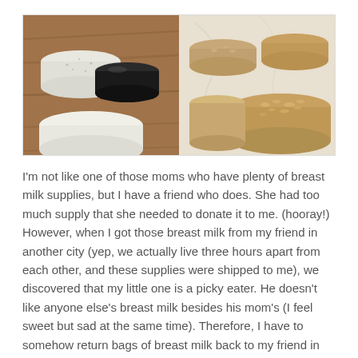[Figure (photo): Two side-by-side photos of handmade soaps. Left photo shows cylindrical soaps (white/speckled and black) on a wooden surface. Right photo shows round oatmeal-colored soaps on a light marble surface.]
I'm not like one of those moms who have plenty of breast milk supplies, but I have a friend who does. She had too much supply that she needed to donate it to me. (hooray!) However, when I got those breast milk from my friend in another city (yep, we actually live three hours apart from each other, and these supplies were shipped to me), we discovered that my little one is a picky eater. He doesn't like anyone else's breast milk besides his mom's (I feel sweet but sad at the same time). Therefore, I have to somehow return bags of breast milk back to my friend in another format that will help keep the breast